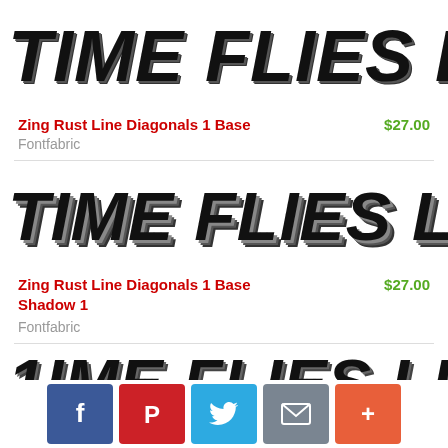[Figure (illustration): Font preview showing 'TIME FLIES LIKE AN ARRO' in a bold italic distressed/hatched style typeface, first entry]
Zing Rust Line Diagonals 1 Base   $27.00
Fontfabric
[Figure (illustration): Font preview showing 'TIME FLIES LIKE AN ARRO' in a bold italic distressed/hatched style typeface with shadow, second entry]
Zing Rust Line Diagonals 1 Base Shadow 1   $27.00
Fontfabric
[Figure (illustration): Font preview showing '1IME FLIES LIKE AN ARRO' in a bold italic distressed/hatched style typeface, third entry (partially visible)]
Facebook | Pinterest | Twitter | Email | More